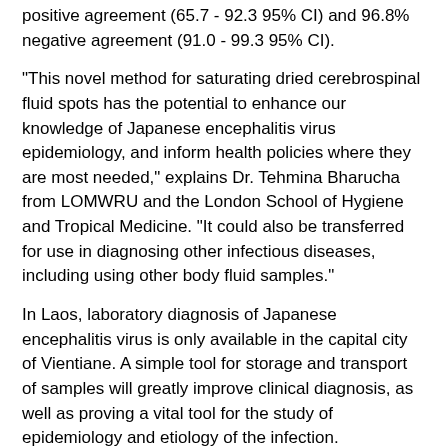positive agreement (65.7 - 92.3 95% CI) and 96.8% negative agreement (91.0 - 99.3 95% CI).
"This novel method for saturating dried cerebrospinal fluid spots has the potential to enhance our knowledge of Japanese encephalitis virus epidemiology, and inform health policies where they are most needed," explains Dr. Tehmina Bharucha from LOMWRU and the London School of Hygiene and Tropical Medicine. "It could also be transferred for use in diagnosing other infectious diseases, including using other body fluid samples."
In Laos, laboratory diagnosis of Japanese encephalitis virus is only available in the capital city of Vientiane. A simple tool for storage and transport of samples will greatly improve clinical diagnosis, as well as proving a vital tool for the study of epidemiology and etiology of the infection.
###
Please contact plosntds@plos.org if you would like more information about our content and specific topics of interest.